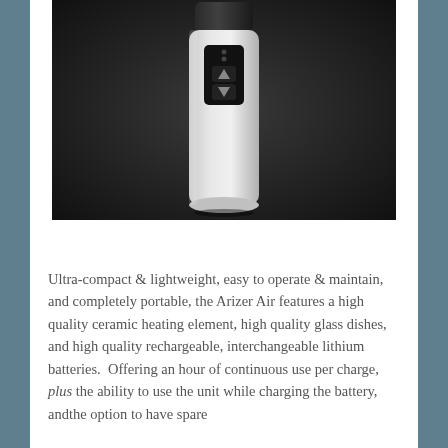[Figure (photo): Product photo of an Arizer Air vaporizer device — a cylindrical silver/white handheld device with a small black display panel showing buttons, photographed against a dark background.]
Ultra-compact & lightweight, easy to operate & maintain, and completely portable, the Arizer Air features a high quality ceramic heating element, high quality glass dishes, and high quality rechargeable, interchangeable lithium batteries.  Offering an hour of continuous use per charge, plus the ability to use the unit while charging the battery, andthe option to have spare